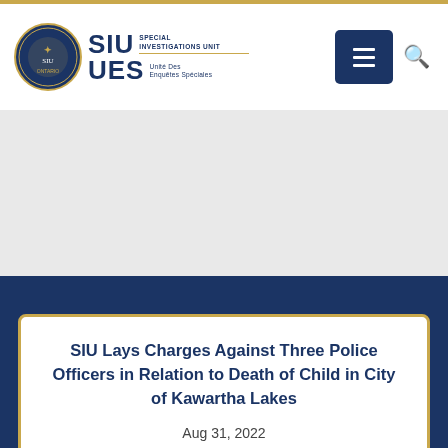[Figure (logo): SIU Special Investigations Unit / UES Unité Des Enquêtes Spéciales logo with circular emblem]
SIU Lays Charges Against Three Police Officers in Relation to Death of Child in City of Kawartha Lakes
Aug 31, 2022